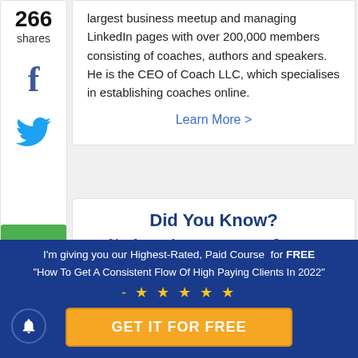largest business meetup and managing LinkedIn pages with over 200,000 members consisting of coaches, authors and speakers. He is the CEO of Coach LLC, which specialises in establishing coaches online.
Learn More >
266 shares
Did You Know?
% of coaches waste over 2 years making avoidable mistakes
Don't waste your time and efforts
I'm giving you our Highest-Rated, Paid Course for FREE "How To Get A Consistent Flow Of High Paying Clients In 2022" - ★ ★ ★ ★ ★
GET IT FOR FREE